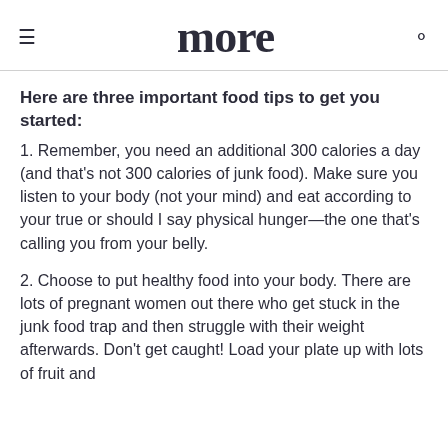more
Here are three important food tips to get you started:
1. Remember, you need an additional 300 calories a day (and that's not 300 calories of junk food). Make sure you listen to your body (not your mind) and eat according to your true or should I say physical hunger—the one that's calling you from your belly.
2. Choose to put healthy food into your body. There are lots of pregnant women out there who get stuck in the junk food trap and then struggle with their weight afterwards. Don't get caught! Load your plate up with lots of fruit and